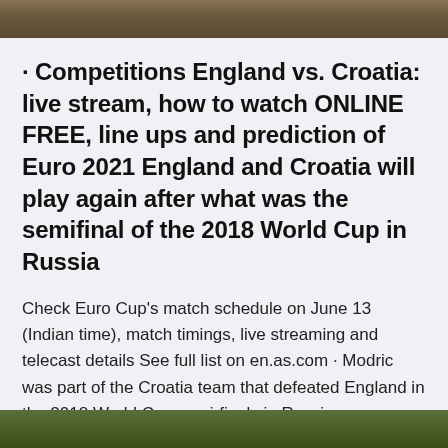[Figure (photo): Top portion of an outdoor photo, brownish tones suggesting a landscape or crowd scene]
· Competitions England vs. Croatia: live stream, how to watch ONLINE FREE, line ups and prediction of Euro 2021 England and Croatia will play again after what was the semifinal of the 2018 World Cup in Russia
Check Euro Cup's match schedule on June 13 (Indian time), match timings, live streaming and telecast details See full list on en.as.com · Modric was part of the Croatia team that defeated England in the 2018 World Cup semi-finals in Russia.
[Figure (photo): Bottom portion of an outdoor photo, green tones suggesting a grass or field scene]